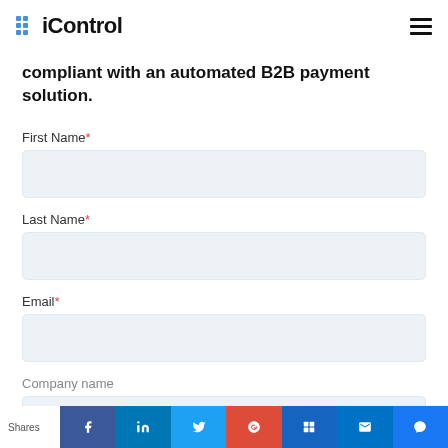[Figure (logo): iControl logo with blue dot grid on the left and hamburger menu icon on the right]
compliant with an automated B2B payment solution.
First Name*
Last Name*
Email*
Company name
Shares | Facebook | LinkedIn | Twitter | Google+ | Pinterest | Outlook | Messenger